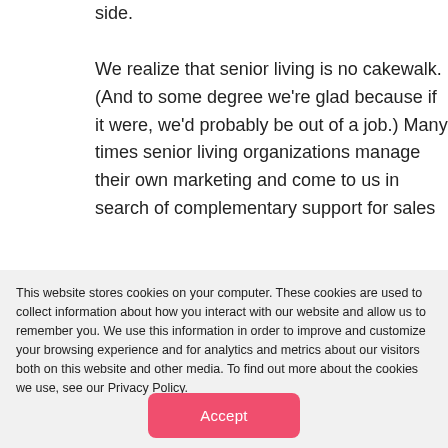side.

We realize that senior living is no cakewalk. (And to some degree we're glad because if it were, we'd probably be out of a job.) Many times senior living organizations manage their own marketing and come to us in search of complementary support for sales
This website stores cookies on your computer. These cookies are used to collect information about how you interact with our website and allow us to remember you. We use this information in order to improve and customize your browsing experience and for analytics and metrics about our visitors both on this website and other media. To find out more about the cookies we use, see our Privacy Policy.
Accept